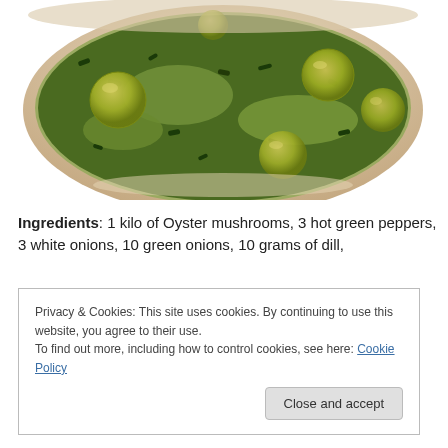[Figure (photo): Close-up photo of a bowl of soup or stew containing large green olives or tomatillos and chopped dark leafy greens in a light broth, viewed from above.]
Ingredients: 1 kilo of Oyster mushrooms, 3 hot green peppers, 3 white onions, 10 green onions, 10 grams of dill,
Privacy & Cookies: This site uses cookies. By continuing to use this website, you agree to their use.
To find out more, including how to control cookies, see here: Cookie Policy
[Close and accept]